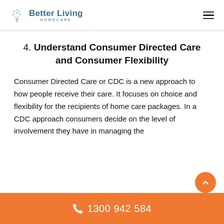Better Living Homecare
4. Understand Consumer Directed Care and Consumer Flexibility
Consumer Directed Care or CDC is a new approach to how people receive their care. It focuses on choice and flexibility for the recipients of home care packages. In a CDC approach consumers decide on the level of involvement they have in managing the
1300 942 584